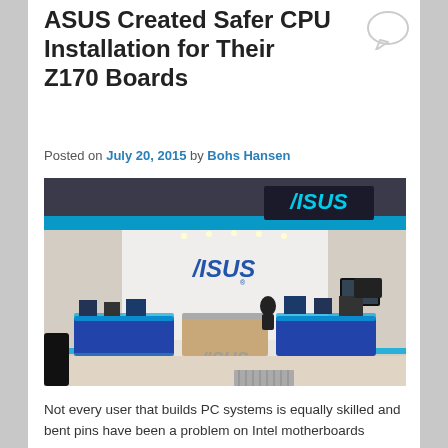ASUS Created Safer CPU Installation for Their Z170 Boards
Posted on July 20, 2015 by Bohs Hansen
[Figure (photo): ASUS retail store interior showing blue LED lighting, ASUS logo displays, product counters, and various electronic devices on display.]
Not every user that builds PC systems is equally skilled and bent pins have been a problem on Intel motherboards